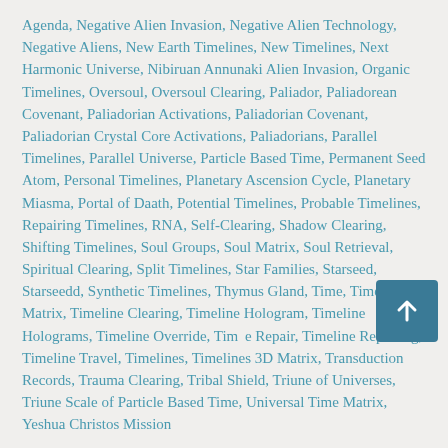Agenda, Negative Alien Invasion, Negative Alien Technology, Negative Aliens, New Earth Timelines, New Timelines, Next Harmonic Universe, Nibiruan Annunaki Alien Invasion, Organic Timelines, Oversoul, Oversoul Clearing, Paliador, Paliadorean Covenant, Paliadorian Activations, Paliadorian Covenant, Paliadorian Crystal Core Activations, Paliadorians, Parallel Timelines, Parallel Universe, Particle Based Time, Permanent Seed Atom, Personal Timelines, Planetary Ascension Cycle, Planetary Miasma, Portal of Daath, Potential Timelines, Probable Timelines, Repairing Timelines, RNA, Self-Clearing, Shadow Clearing, Shifting Timelines, Soul Groups, Soul Matrix, Soul Retrieval, Spiritual Clearing, Split Timelines, Star Families, Starseed, Starseedd, Synthetic Timelines, Thymus Gland, Time, Time Matrix, Timeline Clearing, Timeline Hologram, Timeline Holograms, Timeline Override, Time Repair, Timeline Repairing, Timeline Travel, Timelines, Timelines 3D Matrix, Transduction Records, Trauma Clearing, Tribal Shield, Triune of Universes, Triune Scale of Particle Based Time, Universal Time Matrix, Yeshua Christos Mission